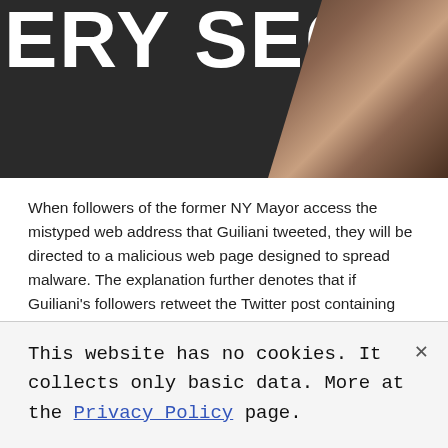[Figure (photo): Dark background image with large bold white text reading 'ERY SECURE' (partially cropped on left), with a hand visible on the right side.]
When followers of the former NY Mayor access the mistyped web address that Guiliani tweeted, they will be directed to a malicious web page designed to spread malware. The explanation further denotes that if Guiliani's followers retweet the Twitter post containing the mistyped web address that the hackers used, hundreds of thousands more will be directed to visit the virus-infected website.
Two Notable Twitter Hacking Incidents that Previously Transpired
This website has no cookies. It collects only basic data. More at the Privacy Policy page.